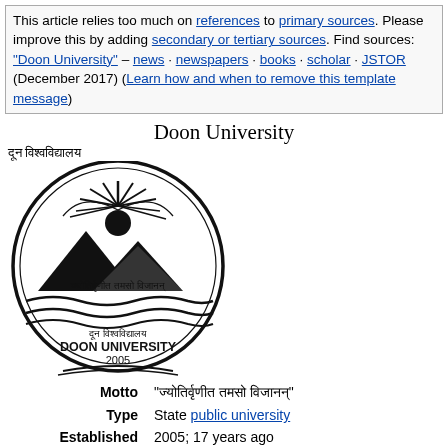This article relies too much on references to primary sources. Please improve this by adding secondary or tertiary sources. Find sources: "Doon University" – news · newspapers · books · scholar · JSTOR (December 2017) (Learn how and when to remove this template message)
Doon University
दून विश्वविद्यालय
[Figure (logo): Doon University seal/logo with sun, mountains, and waves; text 'दून विश्वविद्यालय DOON UNIVERSITY 2005']
| Motto | "ज्योतिर्वृणीत तमसो विजानन्" |
| Type | State public university |
| Established | 2005; 17 years ago |